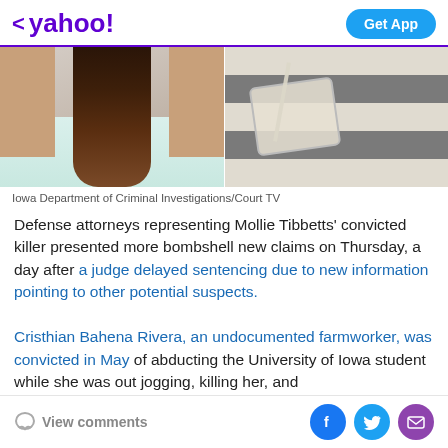< yahoo!  Get App
[Figure (photo): Two side-by-side images: left shows a woman from behind with long brown hair and a light top; right shows a person in a gray and white striped shirt with an arm sling.]
Iowa Department of Criminal Investigations/Court TV
Defense attorneys representing Mollie Tibbetts' convicted killer presented more bombshell new claims on Thursday, a day after a judge delayed sentencing due to new information pointing to other potential suspects. Cristhian Bahena Rivera, an undocumented farmworker, was convicted in May of abducting the University of Iowa student while she was out jogging, killing her, and
View comments